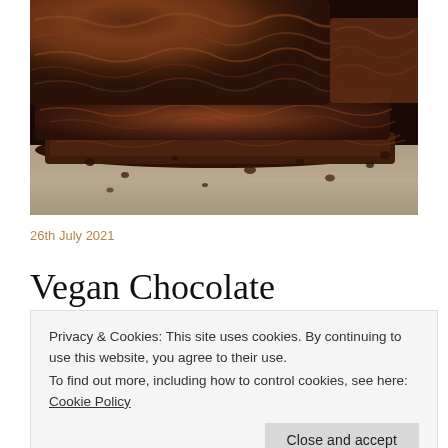[Figure (photo): Close-up photo of stacked dark chocolate brownies on a wooden surface, with chocolate crumbs scattered around]
26th July 2021
Vegan Chocolate
Privacy & Cookies: This site uses cookies. By continuing to use this website, you agree to their use.
To find out more, including how to control cookies, see here: Cookie Policy
Close and accept
This is a simple vegan chocolate brownie recipe for